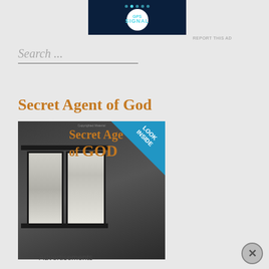[Figure (advertisement): GPS Signal advertisement banner with dark navy background, circular moon graphic, dots, and teal text]
REPORT THIS AD
Search ...
Secret Agent of God
[Figure (photo): Book cover of 'Secret Agent of God' showing dark room with windows, orange/gold title text, and blue 'Look Inside' corner banner]
Advertisements